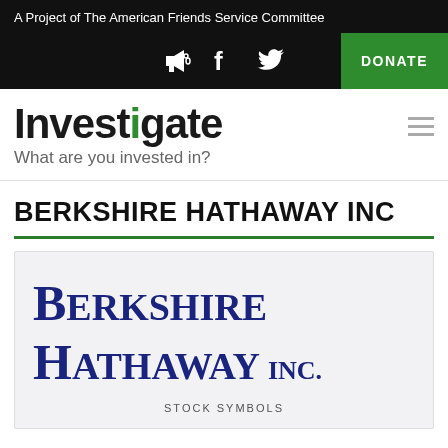A Project of The American Friends Service Committee
[Figure (logo): Navigation icons: megaphone/speaker, Facebook f, Twitter bird, and green DONATE button]
Investigate
What are you invested in?
BERKSHIRE HATHAWAY INC
[Figure (logo): Berkshire Hathaway Inc. logo in dark blue serif font on light gray background]
STOCK SYMBOLS